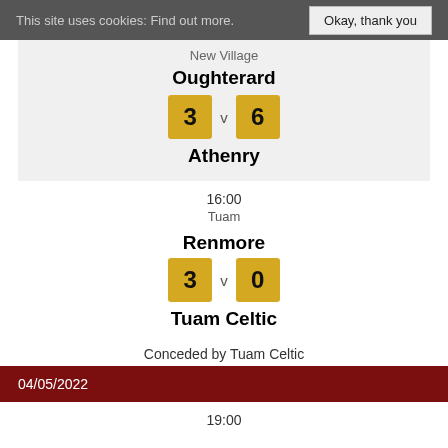This site uses cookies: Find out more.   Okay, thank you
New Village
Oughterard
3 v 6
Athenry
16:00
Tuam
Renmore
3 v 0
Tuam Celtic
Conceded by Tuam Celtic
04/05/2022
19:00